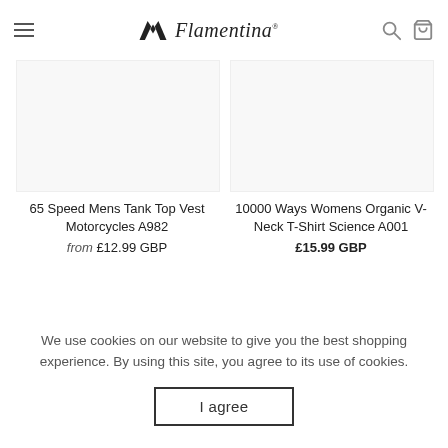Flamentina
65 Speed Mens Tank Top Vest Motorcycles A982
from £12.99 GBP
10000 Ways Womens Organic V-Neck T-Shirt Science A001
£15.99 GBP
We use cookies on our website to give you the best shopping experience. By using this site, you agree to its use of cookies.
I agree